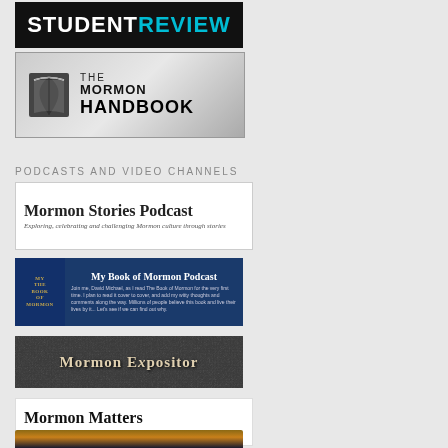[Figure (logo): Student Review banner with white bold text 'STUDENT' and cyan bold text 'REVIEW' on black background]
[Figure (logo): The Mormon Handbook banner with open book icon and bold text on silver gradient background]
PODCASTS AND VIDEO CHANNELS
[Figure (logo): Mormon Stories Podcast banner on white background with italic subtitle: Exploring, celebrating and challenging Mormon culture through stories]
[Figure (logo): My Book of Mormon Podcast banner on dark blue background with book cover on left and descriptive text on right]
[Figure (logo): Mormon Expositor banner with stylized text on dark textured background]
[Figure (logo): Mormon Matters banner with subtitle: A weekly podcast exploring Mormon culture and current events.]
[Figure (photo): Partial image cut off at bottom of page, appears to show a media/video channel thumbnail]